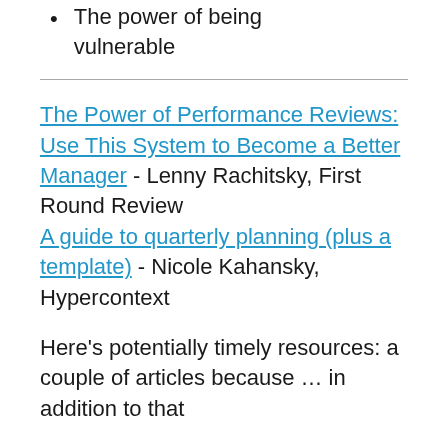The power of being vulnerable
The Power of Performance Reviews: Use This System to Become a Better Manager - Lenny Rachitsky, First Round Review
A guide to quarterly planning (plus a template) - Nicole Kahansky, Hypercontext
Here’s potentially timely resources: a couple of articles because … in addition to that